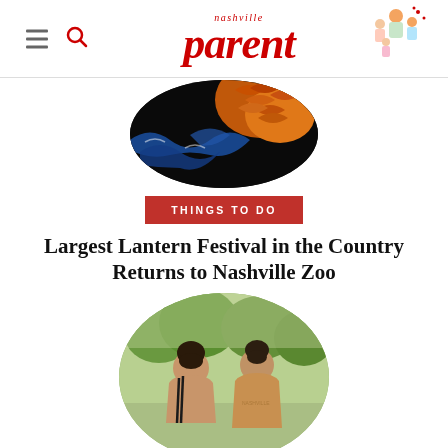nashville parent
[Figure (photo): Circular cropped photo of colorful lanterns — orange fish scales and blue wave patterns on black background]
THINGS TO DO
Largest Lantern Festival in the Country Returns to Nashville Zoo
[Figure (photo): Circular cropped photo of two people seen from behind at an outdoor event, trees in background]